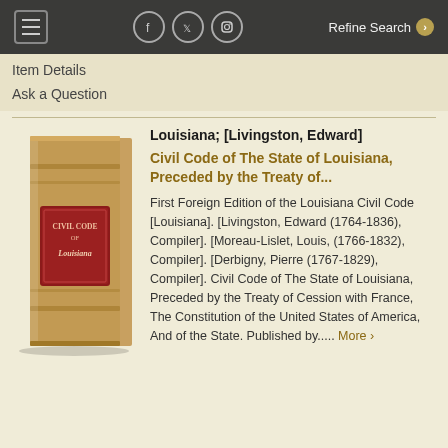≡  [facebook] [twitter] [instagram]  Refine Search ❯
Item Details
Ask a Question
[Figure (photo): Photograph of a tan/brown leather-bound book standing upright, with a red label on the spine reading 'CIVIL CODE OF Louisiana']
Louisiana; [Livingston, Edward]
Civil Code of The State of Louisiana, Preceded by the Treaty of...
First Foreign Edition of the Louisiana Civil Code [Louisiana]. [Livingston, Edward (1764-1836), Compiler]. [Moreau-Lislet, Louis, (1766-1832), Compiler]. [Derbigny, Pierre (1767-1829), Compiler]. Civil Code of The State of Louisiana, Preceded by the Treaty of Cession with France, The Constitution of the United States of America, And of the State. Published by..... More ›